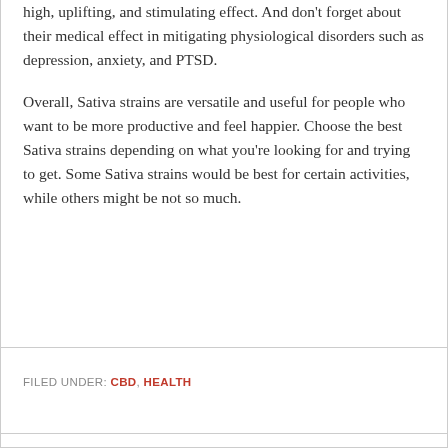high, uplifting, and stimulating effect. And don't forget about their medical effect in mitigating physiological disorders such as depression, anxiety, and PTSD.
Overall, Sativa strains are versatile and useful for people who want to be more productive and feel happier. Choose the best Sativa strains depending on what you're looking for and trying to get. Some Sativa strains would be best for certain activities, while others might be not so much.
FILED UNDER: CBD, HEALTH